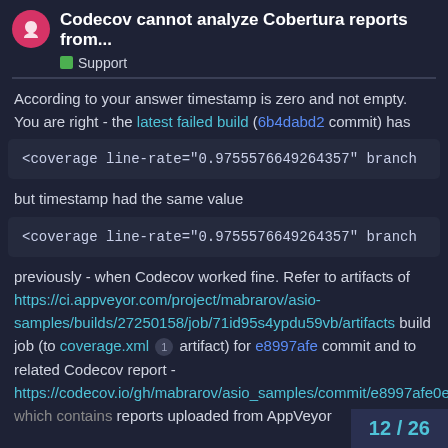Codecov cannot analyze Cobertura reports from... Support
According to your answer timestamp is zero and not empty. You are right - the latest failed build (6b4dabd2 commit) has
<coverage line-rate="0.9755576649264357" branch
but timestamp had the same value
<coverage line-rate="0.9755576649264357" branch
previously - when Codecov worked fine. Refer to artifacts of https://ci.appveyor.com/project/mabrarov/asio-samples/builds/27250158/job/71id95s4ypdu59vb/artifacts build job (to coverage.xml 1 artifact) for e8997afe commit and to related Codecov report - https://codecov.io/gh/mabrarov/asio_samples/commit/e8997afe0ed393b9c10300fd1ef2069e66e6a011/build which contains reports uploaded from AppVeyor
12 / 26